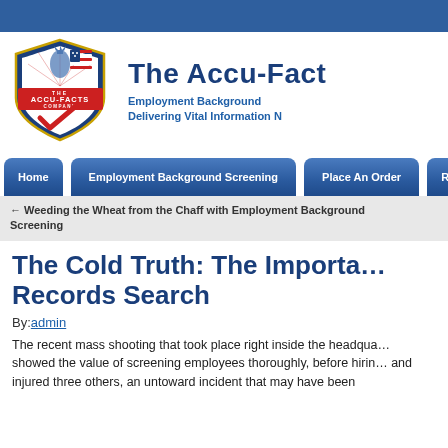[Figure (logo): The Accu-Facts Company shield logo with Statue of Liberty, red and white stripes, checkmark, and company name]
The Accu-Facts Company — Employment Background Screening — Delivering Vital Information N…
← Weeding the Wheat from the Chaff with Employment Background Screening
The Cold Truth: The Importance of … Records Search
By: admin
The recent mass shooting that took place right inside the headquarters showed the value of screening employees thoroughly, before hiring… and injured three others, an untoward incident that may have been…